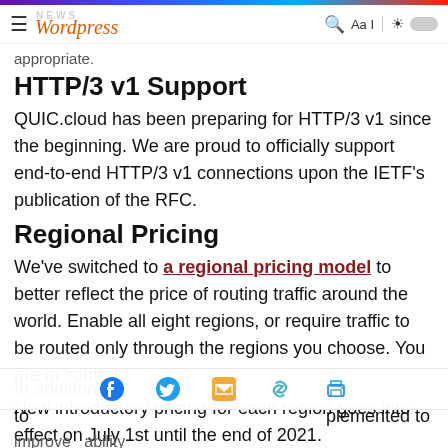NEWS Wordpress
appropriate.
HTTP/3 v1 Support
QUIC.cloud has been preparing for HTTP/3 v1 since the beginning. We are proud to officially support end-to-end HTTP/3 v1 connections upon the IETF's publication of the RFC.
Regional Pricing
We've switched to a regional pricing model to better reflect the price of routing traffic around the world. Enable all eight regions, or require traffic to be routed only through the regions you choose. You are in control.
New introductory pricing for each region goes into effect on July 1st until the end of 2021.
Improved ...
In addition to ... implemented to improve ... ability ...